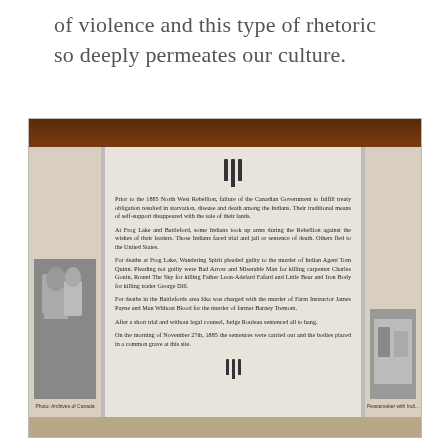of violence and this type of rhetoric so deeply permeates our culture.
[Figure (photo): Photograph of a historical interpretive panel/plaque mounted on a wall, showing three panels. The center panel contains text about the 1885 North West Rebellion, Frog Lake and Battleford deaths, trials of Indigenous people, and the November 27th 1885 executions. The left panel shows a black-and-white photograph of people. The right panel shows another historical photograph. Monument-style column icons appear at the top and bottom of the center panel.]